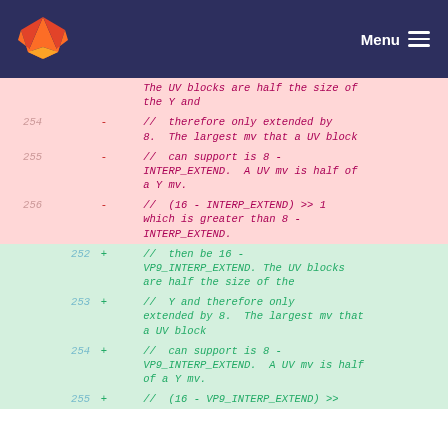GitLab — Menu
| old | new | sign | code |
| --- | --- | --- | --- |
|  |  |  | The UV blocks are half the size of the Y and |
| 254 |  | - | //  therefore only extended by 8.  The largest mv that a UV block |
| 255 |  | - | //  can support is 8 - INTERP_EXTEND.  A UV mv is half of a Y mv. |
| 256 |  | - | //  (16 - INTERP_EXTEND) >> 1 which is greater than 8 - INTERP_EXTEND. |
|  | 252 | + | //  then be 16 - VP9_INTERP_EXTEND. The UV blocks are half the size of the |
|  | 253 | + | //  Y and therefore only extended by 8.  The largest mv that a UV block |
|  | 254 | + | //  can support is 8 - VP9_INTERP_EXTEND.  A UV mv is half of a Y mv. |
|  | 255 | + | //  (16 - VP9_INTERP_EXTEND) >> |